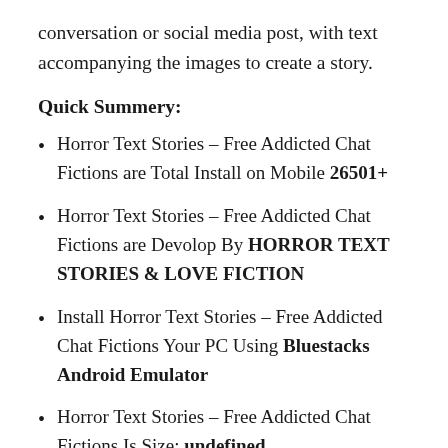conversation or social media post, with text accompanying the images to create a story.
Quick Summery:
Horror Text Stories – Free Addicted Chat Fictions are Total Install on Mobile 26501+
Horror Text Stories – Free Addicted Chat Fictions are Devolop By HORROR TEXT STORIES & LOVE FICTION
Install Horror Text Stories – Free Addicted Chat Fictions Your PC Using Bluestacks Android Emulator
Horror Text Stories – Free Addicted Chat Fictions Is Size: undefined